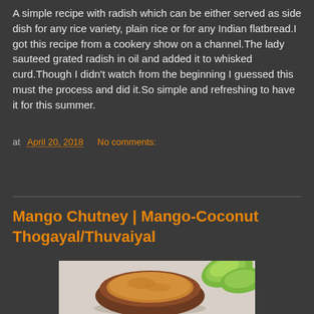A simple recipe with radish which can be either served as side dish for any rice variety, plain rice or for any Indian flatbread.I got this recipe from a cookery show on a channel.The lady sauteed grated radish in oil and added it to whisked curd.Though I didn't watch from the beginning I guessed this must the process and did it.So simple and refreshing to have it for this summer.
at April 20, 2018  No comments:
Share
Mango Chutney | Mango-Coconut Thogayal/Thuvaiyal
[Figure (photo): A bowl of mango chutney/thogayal with green mango slices in the background, shot from above on a light surface.]